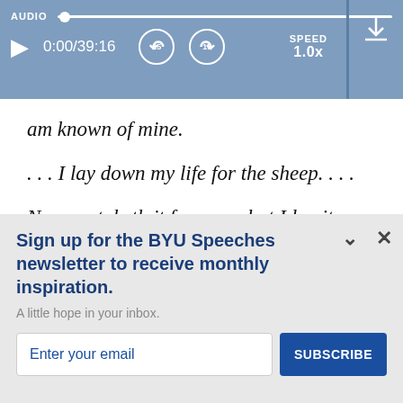[Figure (screenshot): Audio player bar with play button, time display 0:00/39:16, skip back 15 and skip forward 15 buttons, speed 1.0x, and download icon. Blue/slate background.]
am known of mine.
. . . I lay down my life for the sheep. . . .
No man taketh it from me, but I lay it down of myself. I have power to lay it down, and I have
TOP
Sign up for the BYU Speeches newsletter to receive monthly inspiration.
A little hope in your inbox.
Enter your email
SUBSCRIBE